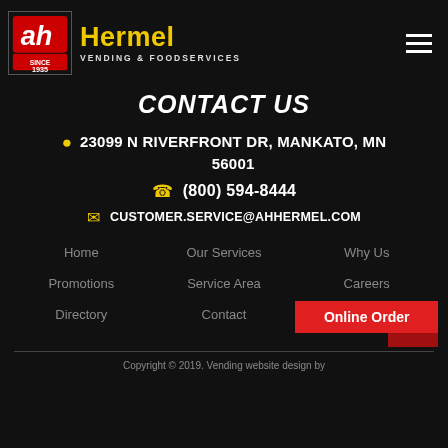Hermel Vending & Foodservices — Since 1935
CONTACT US
23099 N RIVERFRONT DR, MANKATO, MN 56001
(800) 594-8444
CUSTOMER.SERVICE@AHHERMEL.COM
Home
Our Services
Why Us
Promotions
Service Area
Careers
Directory
Contact
Online Order
Copyright © 2019. Vending website design by